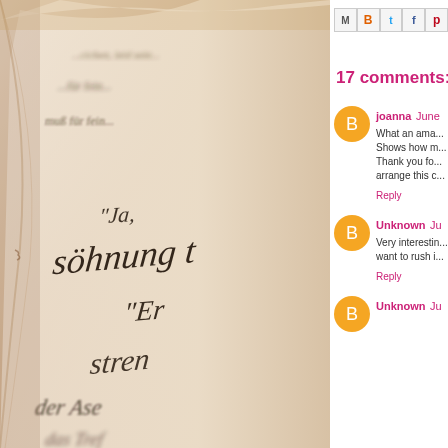[Figure (photo): Close-up sepia-toned photograph of an old book with German blackletter/gothic script text, showing words like 'söhnung', 'Ja', 'Er', 'stren', 'der']
[Figure (infographic): Row of social sharing buttons: M (email), B (Blogger), t (Twitter), f (Facebook), P (Pinterest)]
17 comments:
joanna June
What an ama... Shows how m... Thank you fo... arrange this c...
Reply
Unknown Ju
Very interestin... want to rush i...
Reply
Unknown Ju